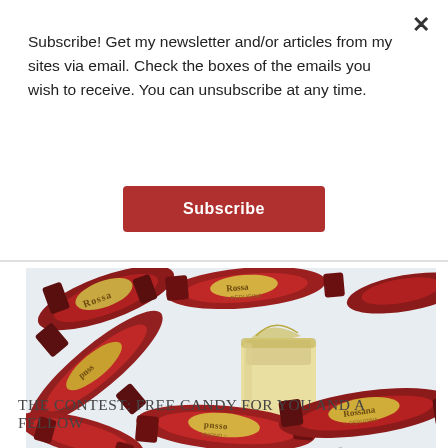Subscribe! Get my newsletter and/or articles from my sites via email. Check the boxes of the emails you wish to receive. You can unsubscribe at any time.
Subscribe
[Figure (photo): Rossana Perugina brand Italian hard candies in red and gold wrappers scattered on a white surface, with one unwrapped cream-filled candy visible. Watermark reads sararosso.com©]
THE CONTEST: FREE CANDY FOR YOU AND A FELLOW